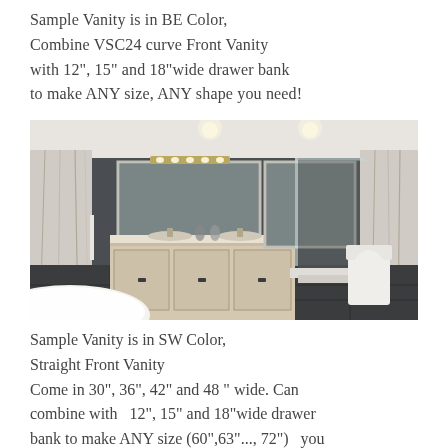Sample Vanity is in BE Color, Combine VSC24 curve Front Vanity with 12", 15" and 18"wide drawer bank to make ANY size, ANY shape you need!
[Figure (photo): Modern luxury bathroom with light wood double vanity, large mirrors, glass shower enclosure, freestanding bathtub in foreground, dark tile floors and walls, white marble accent panels.]
Sample Vanity is in SW Color, Straight Front Vanity Come in 30", 36", 42" and 48 " wide. Can combine with  12", 15" and 18"wide drawer bank to make ANY size (60",63"..., 72")  you need!